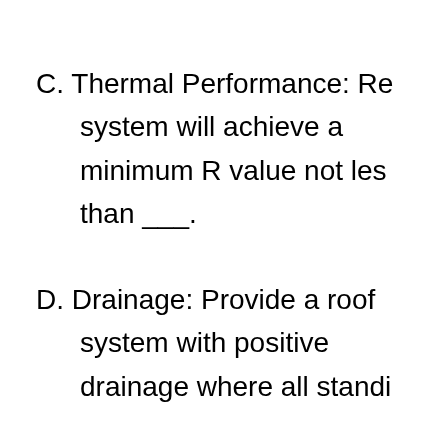C. Thermal Performance: Re system will achieve a minimum R value not less than ___.
D. Drainage: Provide a roof system with positive drainage where all standi